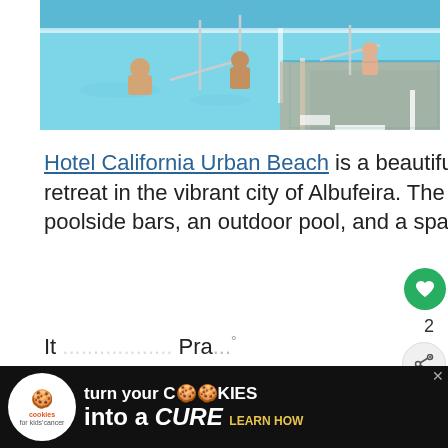[Figure (photo): Outdoor swimming pool with people swimming, glass railings, blue pool deck, bright sunny day]
Hotel California Urban Beach is a beautiful adults-only retreat in the vibrant city of Albufeira. The resort has poolside bars, an outdoor pool, and a spa.
The spa services at this resort feature organic and vegan products which encourage relaxation and rejuvenation.
[Figure (infographic): Advertisement banner: cookies for kids cancer - turn your cookies into a CURE LEARN HOW]
It ... Pra...